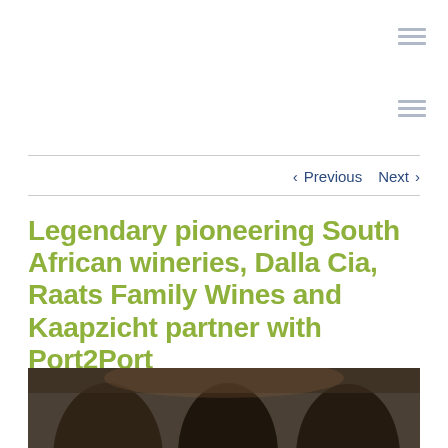[Figure (other): Hamburger menu icon (three horizontal lines) in light gray, top right]
[Figure (other): Second hamburger menu icon in light gray, right side]
< Previous   Next >
Legendary pioneering South African wineries, Dalla Cia, Raats Family Wines and Kaapzicht partner with Port2Port
[Figure (photo): Photograph of people in a wine cellar or restaurant setting, partially visible at bottom]